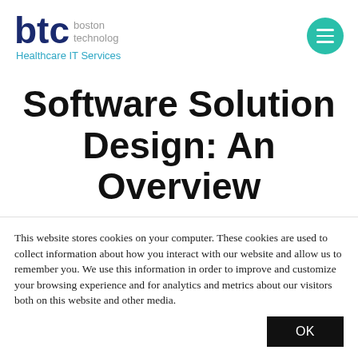[Figure (logo): BTC Boston Technology Healthcare IT Services logo with teal hamburger menu button]
Software Solution Design: An Overview
Shantanu Deshmukh
This website stores cookies on your computer. These cookies are used to collect information about how you interact with our website and allow us to remember you. We use this information in order to improve and customize your browsing experience and for analytics and metrics about our visitors both on this website and other media.
OK